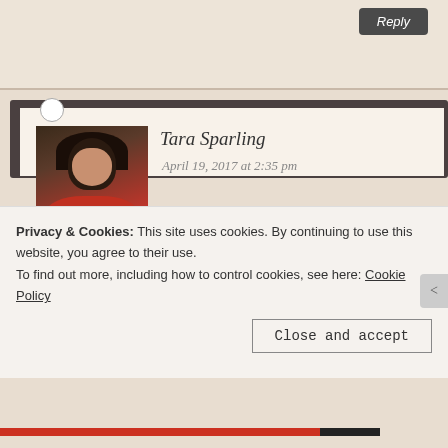Reply
Tara Sparling
April 19, 2017 at 2:35 pm
My jury's out on who destroyed the middle guys, Elizabeth. It's all too easy to blame behemoth Amazon for taking out the little guys – but what about the big publishers who reduced advances to unliveable levels, or ploughed entire marketing
Privacy & Cookies: This site uses cookies. By continuing to use this website, you agree to their use.
To find out more, including how to control cookies, see here: Cookie Policy
Close and accept